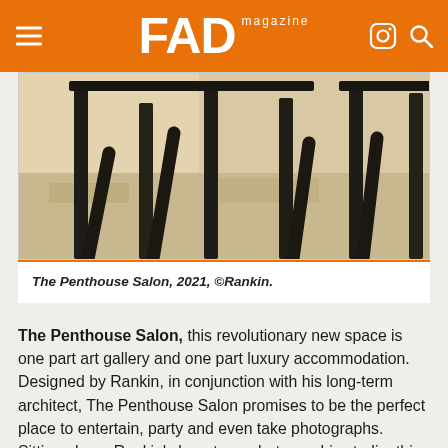FAD magazine
[Figure (photo): Photograph of dark wooden chair legs on a light wood floor, interior of The Penthouse Salon, 2021, photographed by Rankin]
The Penthouse Salon, 2021, ©Rankin.
The Penthouse Salon, this revolutionary new space is one part art gallery and one part luxury accommodation. Designed by Rankin, in conjunction with his long-term architect, The Penthouse Salon promises to be the perfect place to entertain, party and even take photographs. Sitting above Rankin's long-term photographic studio, this contemporary location space is designed with flexibility at its heart, perfect for creative minds and photography.